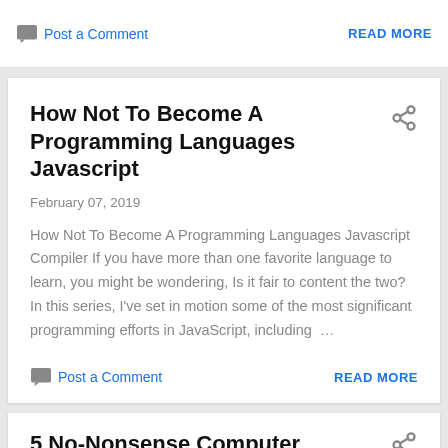Post a Comment    READ MORE
How Not To Become A Programming Languages Javascript
February 07, 2019
How Not To Become A Programming Languages Javascript Compiler If you have more than one favorite language to learn, you might be wondering, Is it fair to content the two? In this series, I’ve set in motion some of the most significant programming efforts in JavaScript, including …
Post a Comment    READ MORE
5 No-Nonsense Computer Science